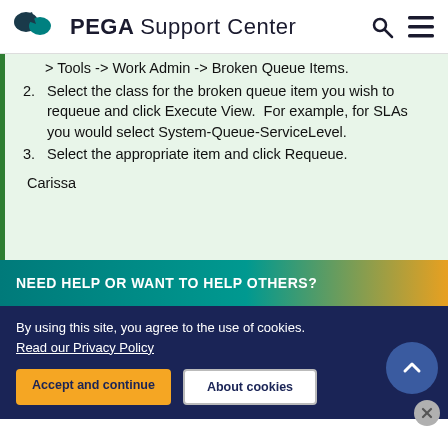PEGA Support Center
> Tools -> Work Admin -> Broken Queue Items.
2. Select the class for the broken queue item you wish to requeue and click Execute View.  For example, for SLAs you would select System-Queue-ServiceLevel.
3. Select the appropriate item and click Requeue.
Carissa
NEED HELP OR WANT TO HELP OTHERS?
By using this site, you agree to the use of cookies.
Read our Privacy Policy
Accept and continue   About cookies